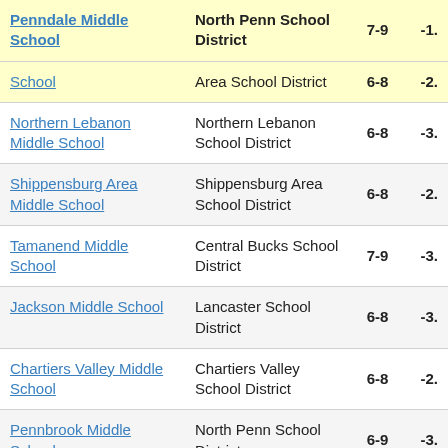| School | District | Grades | Score |
| --- | --- | --- | --- |
| Penndale Middle School | North Penn School District | 7-9 | -1. |
| School | Area School District | 6-8 | -2. |
| Northern Lebanon Middle School | Northern Lebanon School District | 6-8 | -3. |
| Shippensburg Area Middle School | Shippensburg Area School District | 6-8 | -2. |
| Tamanend Middle School | Central Bucks School District | 7-9 | -3. |
| Jackson Middle School | Lancaster School District | 6-8 | -3. |
| Chartiers Valley Middle School | Chartiers Valley School District | 6-8 | -2. |
| Pennbrook Middle School | North Penn School District | 6-9 | -3. |